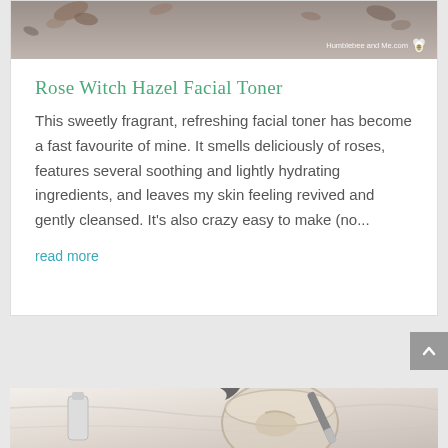[Figure (photo): Top portion of a blog post card showing a photo of dried roses/flowers on a gray surface with 'Humblebee and Me.com' watermark and a small bee logo]
Rose Witch Hazel Facial Toner
This sweetly fragrant, refreshing facial toner has become a fast favourite of mine. It smells deliciously of roses, features several soothing and lightly hydrating ingredients, and leaves my skin feeling revived and gently cleansed. It's also crazy easy to make (no...
read more
[Figure (photo): Bottom portion showing a mixing bowl with cream/lotion being stirred with a spatula, a small bottle on the left, and a dark ribbon/tie visible at the top, on a marble surface]